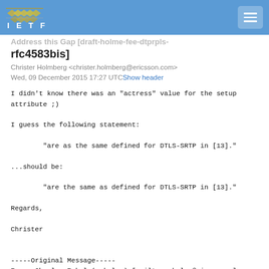IETF
rfc4583bis]
Christer Holmberg <christer.holmberg@ericsson.com>
Wed, 09 December 2015 17:27 UTC Show header
I didn't know there was an "actress" value for the setup attribute ;)

I guess the following statement:

        "are as the same defined for DTLS-SRTP in [13]."

...should be:

        "are the same as defined for DTLS-SRTP in [13]."

Regards,

Christer


-----Original Message-----
From: Charles Eckel (eckelcu) [mailto:eckelcu@cisco.com]